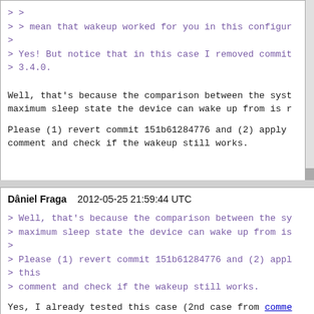> >
> > mean that wakeup worked for you in this configur
>
> Yes! But notice that in this case I removed commit
> 3.4.0.

Well, that's because the comparison between the syst
maximum sleep state the device can wake up from is r

Please (1) revert commit 151b61284776 and (2) apply
comment and check if the wakeup still works.
Dâniel Fraga    2012-05-25 21:59:44 UTC

> Well, that's because the comparison between the sy
> maximum sleep state the device can wake up from is
>
> Please (1) revert commit 151b61284776 and (2) appl
> this
> comment and check if the wakeup still works.

Yes, I already tested this case (2nd case from comme

"2) applying your patch directly without removing co
doesn't work, as you predicted"

So the answer is no, your patch doesn't solve the is